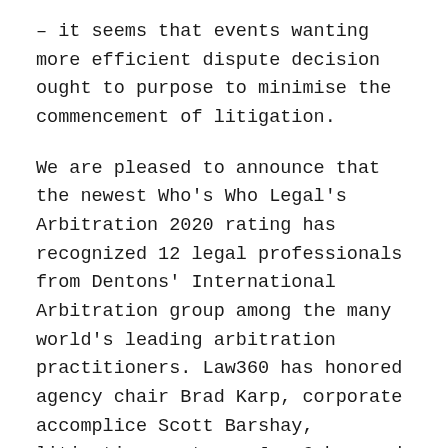– it seems that events wanting more efficient dispute decision ought to purpose to minimise the commencement of litigation.
We are pleased to announce that the newest Who's Who Legal's Arbitration 2020 rating has recognized 12 legal professionals from Dentons' International Arbitration group among the many world's leading arbitration practitioners. Law360 has honored agency chair Brad Karp, corporate accomplice Scott Barshay, litigation partners Jay Cohen and Audra Soloway and real property partners Harris Freidus and Meredith Kane with 2017 MVP Awards.
In the case of interstate or international commerce, the United States Arbitration Act of 1925 makes the agreement legally enforceable, and most states have similar laws for agreements not coated by the federal statute. Litigation is a contested action, where another person, corresponding to a judge may